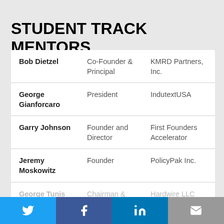STUDENT TRACK MENTORS
| Name | Title | Organization |
| --- | --- | --- |
| Bob Dietzel | Co-Founder & Principal | KMRD Partners, Inc. |
| George Gianforcaro | President | IndutextUSA |
| Garry Johnson | Founder and Director | First Founders Accelerator |
| Jeremy Moskowitz | Founder | PolicyPak Inc. |
| George Tunis III | Chairman & | Hardwire LLC |
Twitter | Facebook | LinkedIn | Email